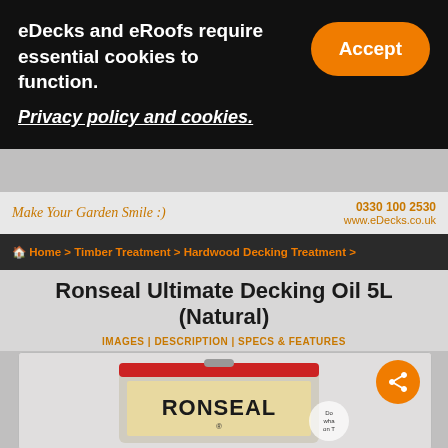eDecks and eRoofs require essential cookies to function.
Accept
Privacy policy and cookies.
Make Your Garden Smile :)  0330 100 2530  www.eDecks.co.uk
Home > Timber Treatment > Hardwood Decking Treatment >
Ronseal Ultimate Decking Oil 5L (Natural)
IMAGES | DESCRIPTION | SPECS & FEATURES
[Figure (photo): Ronseal Ultimate Decking Oil 5L tin product image]